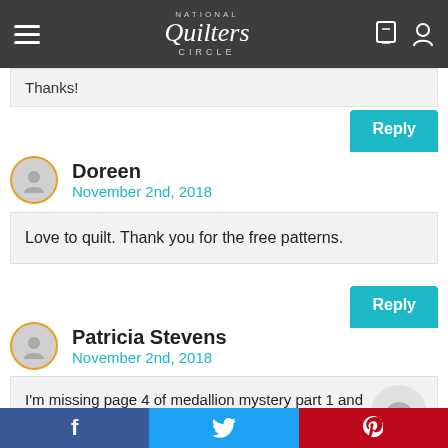National Quilters Circle
Thanks!
Reply
Doreen
November 2nd, 2018
Love to quilt. Thank you for the free patterns.
Reply
Patricia Stevens
November 2nd, 2018
I'm missing page 4 of medallion mystery part 1 and directions for week 2, where can I find them?
f  twitter  p